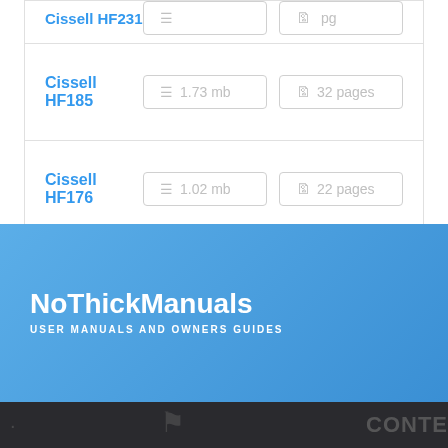| Model | Size | Pages |
| --- | --- | --- |
| Cissell HF231 (partial) |  |  |
| Cissell HF185 | 1.73 mb | 32 pages |
| Cissell HF176 | 1.02 mb | 22 pages |
| Cissell HF234 | 1.73 mb | 32 pages |
| Cissell HF150 | 1.73 mb | 32 pages |
NoThickManuals
USER MANUALS AND OWNERS GUIDES